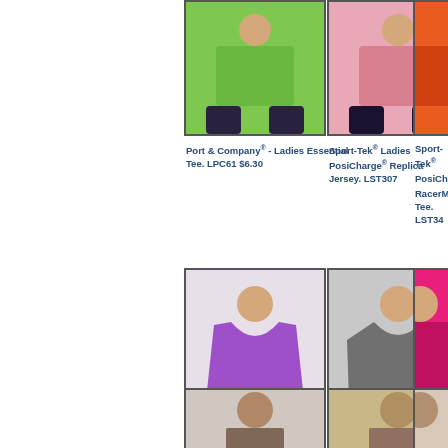[Figure (photo): Woman in lime green t-shirt]
Port & Company® - Ladies Essential Tee. LPC61 $6.30
[Figure (photo): Woman in pink tank top]
Sport-Tek® Ladies PosiCharge® Replica Jersey. LST307
[Figure (photo): Woman in orange t-shirt (cropped)]
Sport-Tek® PosiCharge® RacerMesh® Tee. LST34
[Figure (photo): Woman in purple V-neck t-shirt]
Sport-Tek® Ladies PosiCharge® Competitor™ V-Neck Tee. LST353
[Figure (photo): Woman in gray long sleeve V-neck shirt]
Sport-Tek® Ladies Long Sleeve PosiCharge® Competitor™ V-Neck Tee. LST353LS
[Figure (photo): Woman in hot pink racerback tank (cropped)]
Sport-Tek® PosiCharge® Competitor™ Racerback Tank. LST356
[Figure (photo): Woman bottom row item 1]
[Figure (photo): Woman bottom row item 2]
[Figure (photo): Woman bottom row item 3 (cropped)]